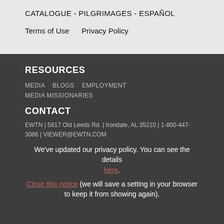CATALOGUE - PILGRIMAGES - ESPAÑOL
Terms of Use     Privacy Policy
RESOURCES
MEDIA   BLOGS   EMPLOYMENT   MEDIA MISSIONARIES
CONTACT
EWTN | 5817 Old Leeds Rd. | Irondale, AL 35210 | 1-800-447-3086 | VIEWER@EWTN.COM
We've updated our privacy policy. You can see the details here.
Close this notice (we will save a setting in your browser to keep it from showing again).